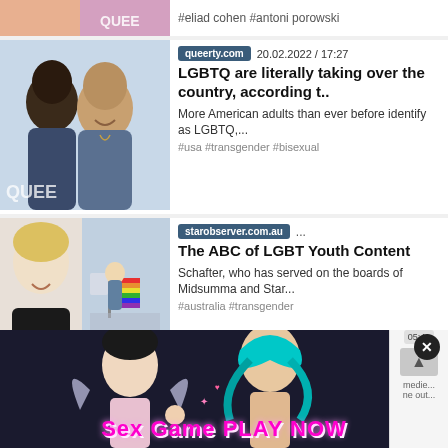#eliad cohen #antoni porowski
[Figure (photo): Two men, one kissing the other on the cheek, smiling, with QUEER watermark]
queerty.com  20.02.2022 / 17:27
LGBTQ are literally taking over the country, according t..
More American adults than ever before identify as LGBTQ,...
#usa #transgender #bisexual
[Figure (photo): Blonde woman smiling in black jacket, and person holding rainbow flag]
starobserver.com.au ...
The ABC of LGBT Youth Content
Schafter, who has served on the boards of Midsumma and Star...
#australia #transgender
[Figure (illustration): Animated female characters, advertisement banner reading Sex Game PLAY NOW]